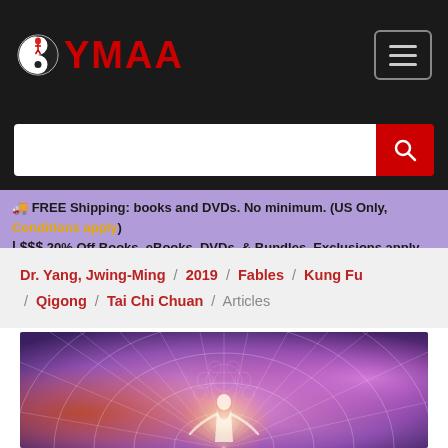[Figure (logo): YMAA logo with yin-yang icon and red YMAA text on dark background]
[Figure (screenshot): Search input bar with white text field and red search button with magnifying glass icon]
🚚 FREE Shipping: books and DVDs. No minimum. (US Only, Conditions apply) | $$$ 20% Off Books, eBooks, DVDs, & Bundles. Exclusions apply.
Dr. Yang, Jwing-Ming / 2019 / Fables / Kung Fu / Qigong / Tai Chi Chuan / Articles
[Figure (illustration): Spiritual/mystical illustration showing a meditating figure surrounded by colorful energy, geometric patterns and radiating light in purple, pink, orange hues]